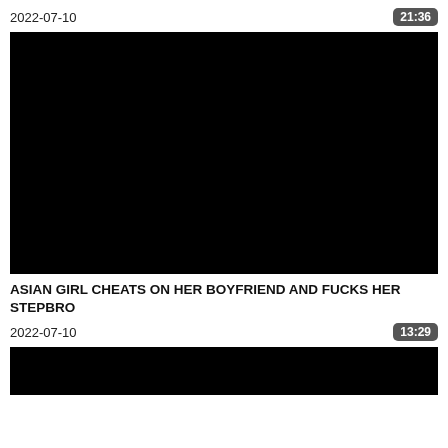2022-07-10   21:36
[Figure (screenshot): Black video thumbnail placeholder]
ASIAN GIRL CHEATS ON HER BOYFRIEND AND FUCKS HER STEPBRO
2022-07-10   13:29
[Figure (screenshot): Black video thumbnail placeholder (partial)]